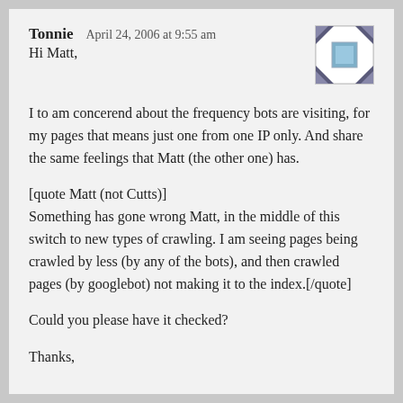Tonnie   April 24, 2006 at 9:55 am
Hi Matt,
I to am concerend about the frequency bots are visiting, for my pages that means just one from one IP only. And share the same feelings that Matt (the other one) has.
[quote Matt (not Cutts)]
Something has gone wrong Matt, in the middle of this switch to new types of crawling. I am seeing pages being crawled by less (by any of the bots), and then crawled pages (by googlebot) not making it to the index.[/quote]
Could you please have it checked?
Thanks,